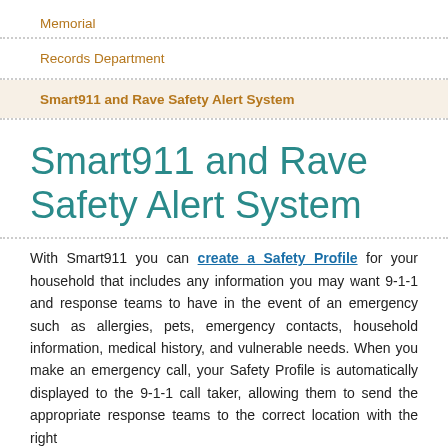Memorial
Records Department
Smart911 and Rave Safety Alert System
Smart911 and Rave Safety Alert System
With Smart911 you can create a Safety Profile for your household that includes any information you may want 9-1-1 and response teams to have in the event of an emergency such as allergies, pets, emergency contacts, household information, medical history, and vulnerable needs. When you make an emergency call, your Safety Profile is automatically displayed to the 9-1-1 call taker, allowing them to send the appropriate response teams to the correct location with the right